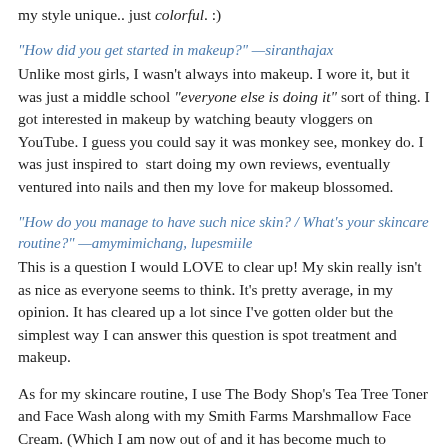my style unique.. just colorful. :)
"How did you get started in makeup?" —siranthajax
Unlike most girls, I wasn't always into makeup. I wore it, but it was just a middle school "everyone else is doing it" sort of thing. I got interested in makeup by watching beauty vloggers on YouTube. I guess you could say it was monkey see, monkey do. I was just inspired to  start doing my own reviews, eventually ventured into nails and then my love for makeup blossomed.
"How do you manage to have such nice skin? / What's your skincare routine?" —amymimichang, lupesmiile
This is a question I would LOVE to clear up! My skin really isn't as nice as everyone seems to think. It's pretty average, in my opinion. It has cleared up a lot since I've gotten older but the simplest way I can answer this question is spot treatment and makeup.
As for my skincare routine, I use The Body Shop's Tea Tree Toner and Face Wash along with my Smith Farms Marshmallow Face Cream. (Which I am now out of and it has become much to expensive for me to be able to afford, anyone have any good